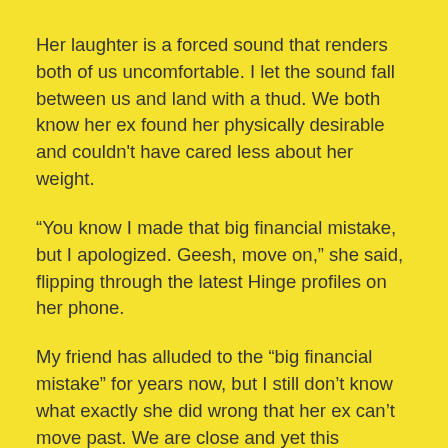Her laughter is a forced sound that renders both of us uncomfortable. I let the sound fall between us and land with a thud. We both know her ex found her physically desirable and couldn't have cared less about her weight.
“You know I made that big financial mistake, but I apologized. Geesh, move on,” she said, flipping through the latest Hinge profiles on her phone.
My friend has alluded to the “big financial mistake” for years now, but I still don’t know what exactly she did wrong that her ex can’t move past. We are close and yet this financial “mistake” remains a mystery only clear to her ex.